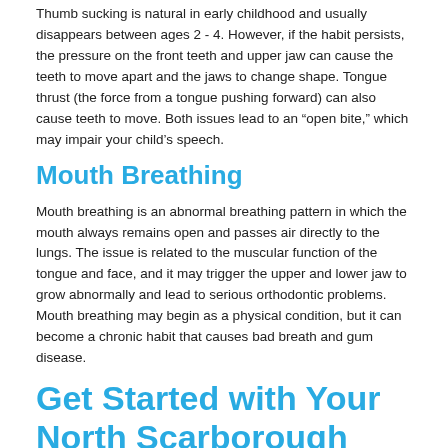Thumb sucking is natural in early childhood and usually disappears between ages 2 - 4. However, if the habit persists, the pressure on the front teeth and upper jaw can cause the teeth to move apart and the jaws to change shape. Tongue thrust (the force from a tongue pushing forward) can also cause teeth to move. Both issues lead to an “open bite,” which may impair your child’s speech.
Mouth Breathing
Mouth breathing is an abnormal breathing pattern in which the mouth always remains open and passes air directly to the lungs. The issue is related to the muscular function of the tongue and face, and it may trigger the upper and lower jaw to grow abnormally and lead to serious orthodontic problems. Mouth breathing may begin as a physical condition, but it can become a chronic habit that causes bad breath and gum disease.
Get Started with Your North Scarborough Orthodontist
To see if early orthodontic treatment is right for your child, contact us